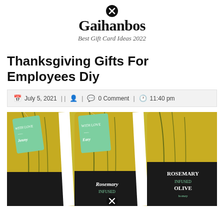Gaihanbos – Best Gift Card Ideas 2022
Thanksgiving Gifts For Employees Diy
July 5, 2021 | | 0 Comment | 11:40 pm
[Figure (photo): Three olive oil bottles with rosemary-infused olive oil labels and green gift tags, arranged diagonally]